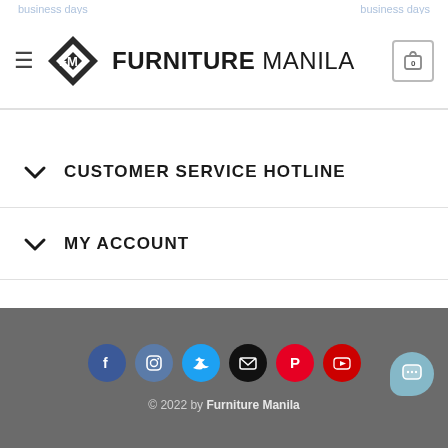FURNITURE MANILA
CUSTOMER SERVICE HOTLINE
MY ACCOUNT
CUSTOMER CARE
© 2022 by Furniture Manila